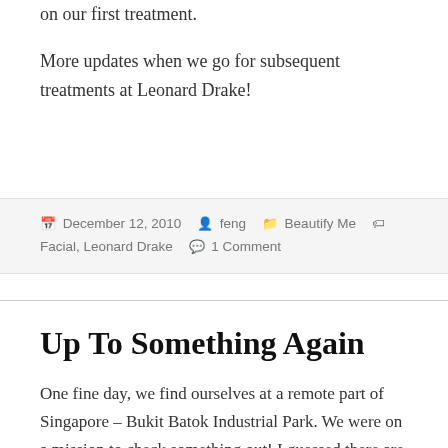on our first treatment.
More updates when we go for subsequent treatments at Leonard Drake!
December 12, 2010  feng  Beautify Me  Facial, Leonard Drake  1 Comment
Up To Something Again
One fine day, we find ourselves at a remote part of Singapore – Bukit Batok Industrial Park. We were on a mission to check something out! I guessed there are endless things to settle for our upcoming wedding.
Had a little hiccup with the scheduled appointment